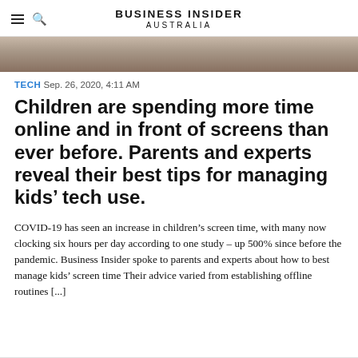BUSINESS INSIDER AUSTRALIA
[Figure (photo): Hero image showing a wooden surface or desk, used as article header image]
TECH Sep. 26, 2020, 4:11 AM
Children are spending more time online and in front of screens than ever before. Parents and experts reveal their best tips for managing kids' tech use.
COVID-19 has seen an increase in children's screen time, with many now clocking six hours per day according to one study – up 500% since before the pandemic. Business Insider spoke to parents and experts about how to best manage kids' screen time Their advice varied from establishing offline routines [...]